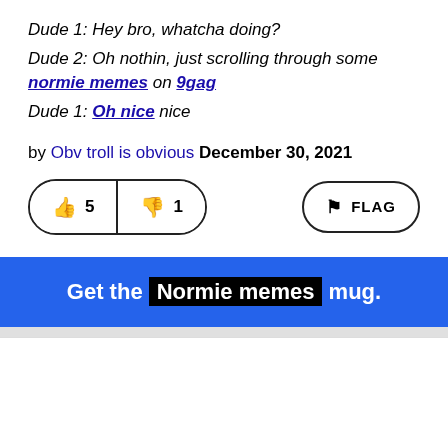Dude 1: Hey bro, whatcha doing?
Dude 2: Oh nothin, just scrolling through some normie memes on 9gag
Dude 1: Oh nice nice
by Obv troll is obvious December 30, 2021
[Figure (other): Vote buttons showing thumbs up with 5 and thumbs down with 1, and a FLAG button on the right]
Get the Normie memes mug.
[Figure (other): White card area below the blue banner]